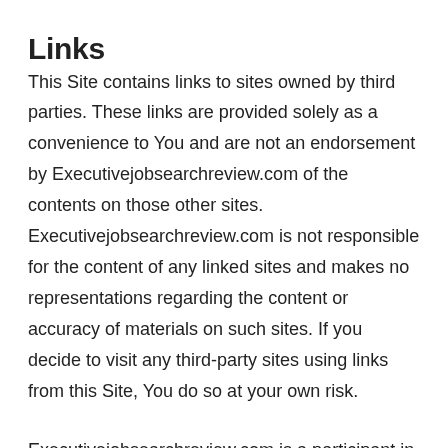Links
This Site contains links to sites owned by third parties. These links are provided solely as a convenience to You and are not an endorsement by Executivejobsearchreview.com of the contents on those other sites. Executivejobsearchreview.com is not responsible for the content of any linked sites and makes no representations regarding the content or accuracy of materials on such sites. If you decide to visit any third-party sites using links from this Site, You do so at your own risk.
Executivejobsearchreview.com is a participant in the Amazon Services LLC Associates Program, an affiliate